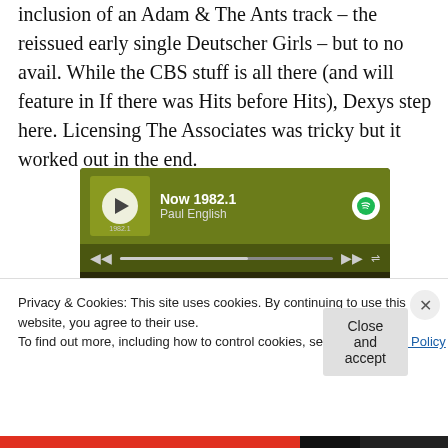inclusion of an Adam & The Ants track – the reissued early single Deutscher Girls – but to no avail. While the CBS stuff is all there (and will feature in If there was Hits before Hits), Dexys step here. Licensing The Associates was tricky but it worked out in the end.
[Figure (screenshot): Spotify playlist widget showing 'Now 1982.1' by Paul English. Track 1: Don't You Want Me by The Human League (3:56). Track 2: The Model - 2009 Remaster (3:40).]
Privacy & Cookies: This site uses cookies. By continuing to use this website, you agree to their use.
To find out more, including how to control cookies, see here: Cookie Policy